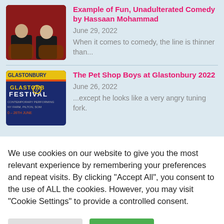[Figure (photo): Two men in suits seated on ornate chairs against a red background — thumbnail for comedy article]
Example of Fun, Unadulterated Comedy by Hassaan Mohammad
June 29, 2022
When it comes to comedy, the line is thinner than...
[Figure (photo): Glastonbury Festival poster — colorful festival branding with text GLASTONBURY FESTIVAL CONTEMPORARY PERFORMING – 26TH JUNE]
The Pet Shop Boys at Glastonbury 2022
June 26, 2022
...except he looks like a very angry tuning fork.
We use cookies on our website to give you the most relevant experience by remembering your preferences and repeat visits. By clicking "Accept All", you consent to the use of ALL the cookies. However, you may visit "Cookie Settings" to provide a controlled consent.
Cookie Settings
Accept All